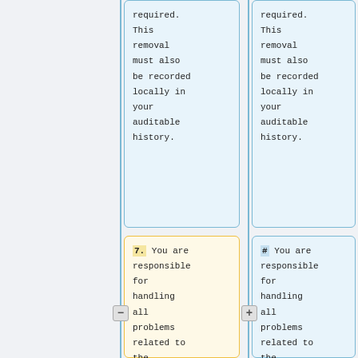required. This removal must also be recorded locally in your auditable history.
required. This removal must also be recorded locally in your auditable history.
7. You are responsible for handling all problems related to the inclusion of any licensed software in
# You are responsible for handling all problems related to the inclusion of any licensed software in